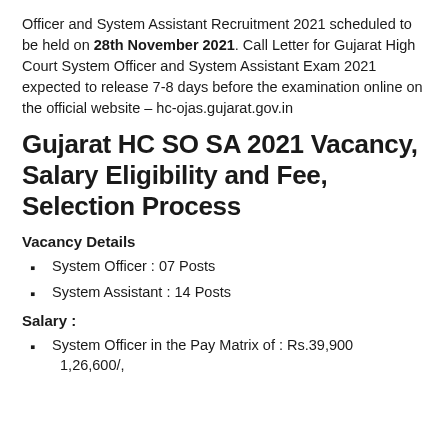Officer and System Assistant Recruitment 2021 scheduled to be held on 28th November 2021. Call Letter for Gujarat High Court System Officer and System Assistant Exam 2021 expected to release 7-8 days before the examination online on the official website – hc-ojas.gujarat.gov.in
Gujarat HC SO SA 2021 Vacancy, Salary Eligibility and Fee, Selection Process
Vacancy Details
System Officer : 07 Posts
System Assistant : 14 Posts
Salary :
System Officer in the Pay Matrix of : Rs.39,900 1,26,600/,